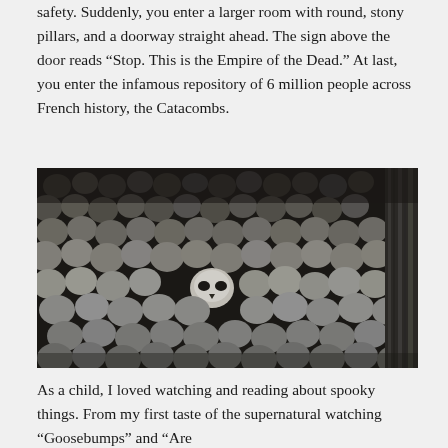safety. Suddenly, you enter a larger room with round, stony pillars, and a doorway straight ahead. The sign above the door reads “Stop. This is the Empire of the Dead.” At last, you enter the infamous repository of 6 million people across French history, the Catacombs.
[Figure (photo): Black and white photograph of the Paris Catacombs, showing a dense wall of skulls and bones arranged together. A stone pillar or wall is visible on the right side.]
As a child, I loved watching and reading about spooky things. From my first taste of the supernatural watching “Goosebumps” and “Are